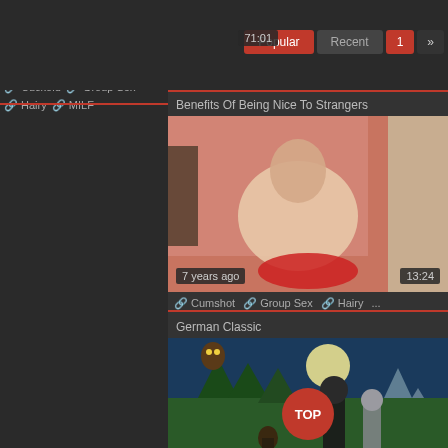7 years ago
Popular  Recent  1  »
Cuckold  Group Sex  Hairy  MILF
Benefits Of Being Nice To Strangers
[Figure (photo): Video thumbnail showing a person, 7 years ago, duration 13:24]
7 years ago  13:24
Cumshot  Group Sex  Hairy  ...
German Classic
[Figure (photo): Video thumbnail showing animated/illustrated scene with forest background, TOP button overlay]
TOP